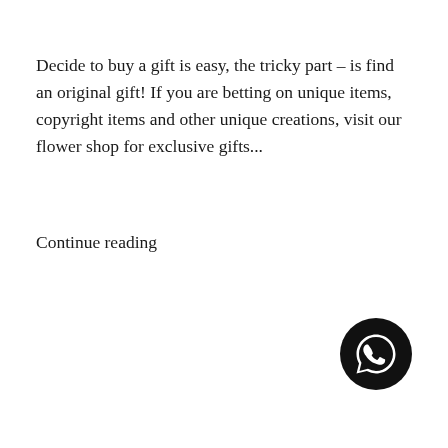Decide to buy a gift is easy, the tricky part – is find an original gift! If you are betting on unique items, copyright items and other unique creations, visit our flower shop for exclusive gifts...
Continue reading
[Figure (logo): WhatsApp icon — white phone handset in speech bubble on black circular background]